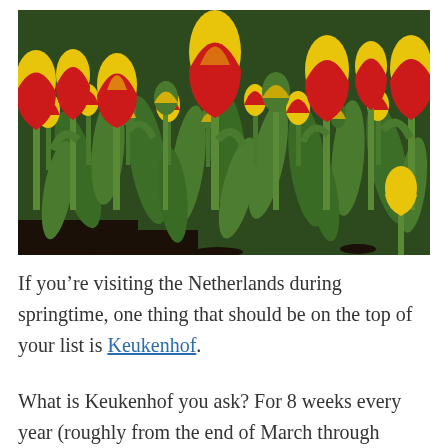[Figure (photo): Close-up photograph of a field of red and yellow tulips with green leaves and stems, taken at Keukenhof gardens in the Netherlands.]
If you’re visiting the Netherlands during springtime, one thing that should be on the top of your list is Keukenhof.
What is Keukenhof you ask? For 8 weeks every year (roughly from the end of March through mid-May), to 70 acres and over 7 million flowers bloom.